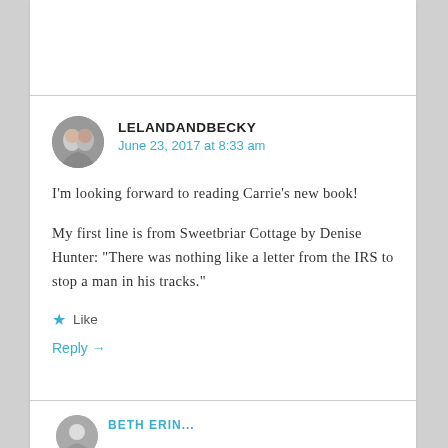LELANDANDBECKY
June 23, 2017 at 8:33 am
I'm looking forward to reading Carrie's new book!
My first line is from Sweetbriar Cottage by Denise Hunter: “There was nothing like a letter from the IRS to stop a man in his tracks.”
★ Like
Reply →